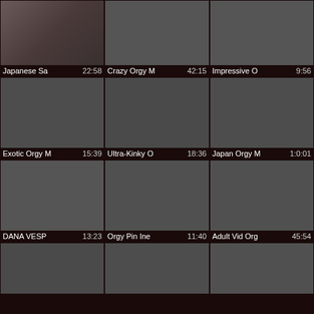[Figure (screenshot): Video thumbnail grid showing adult content video listings with titles and durations]
Japanese Sa 22:58
Crazy Orgy M 42:15
Impressive O 9:56
Exotic Orgy M 15:39
Ultra-Kinky O 18:36
Japan Orgy M 1:0:01
DANA VESP 13:23
Orgy Pin Ine 11:40
Adult Vid Org 45:54